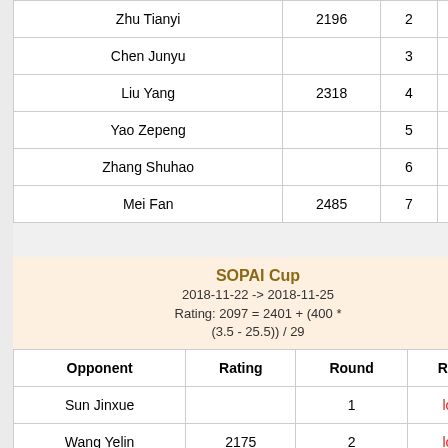| Opponent | Rating | Round | Result |
| --- | --- | --- | --- |
| Zhu Tianyi | 2196 | 2 | draw |
| Chen Junyu |  | 3 | win |
| Liu Yang | 2318 | 4 | win |
| Yao Zepeng |  | 5 | win |
| Zhang Shuhao |  | 6 | win |
| Mei Fan | 2485 | 7 | loss |
SOPAI Cup
2018-11-22 -> 2018-11-25
Rating: 2097 = 2401 + (400 * (3.5 - 25.5)) / 29
| Opponent | Rating | Round | Result |
| --- | --- | --- | --- |
| Sun Jinxue |  | 1 | loss |
| Wang Yelin | 2175 | 2 | loss |
| Tian Hanfa |  | 3 | win |
| Mesila Villem | 2197 | 4 | win |
| Chen Xin | 2182 | 5 | loss |